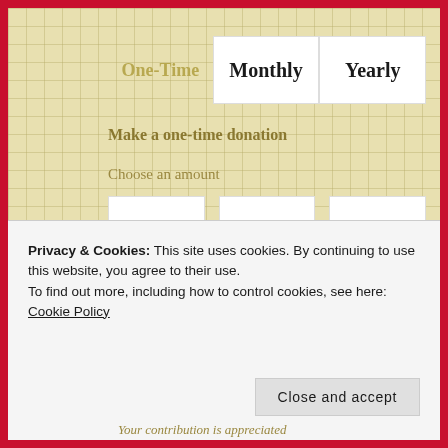One-Time
Monthly
Yearly
Make a one-time donation
Choose an amount
£2.00
£3.00
£5.00
Or enter a custom amount
Privacy & Cookies: This site uses cookies. By continuing to use this website, you agree to their use.
To find out more, including how to control cookies, see here: Cookie Policy
Close and accept
Your contribution is appreciated